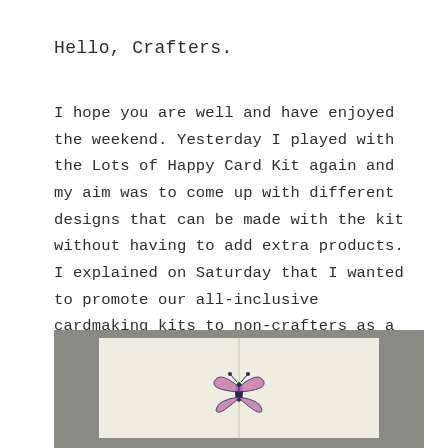Hello, Crafters.
I hope you are well and have enjoyed the weekend. Yesterday I played with the Lots of Happy Card Kit again and my aim was to come up with different designs that can be made with the kit without having to add extra products. I explained on Saturday that I wanted to promote our all-inclusive cardmaking kits to non-crafters as a way to help them fill some of their time during the lockdown.
[Figure (photo): A photograph showing a handmade card on a grey background. The card appears to be a white/cream folded card with wing-like flaps open, and a small butterfly sticker or die-cut decoration in the center.]